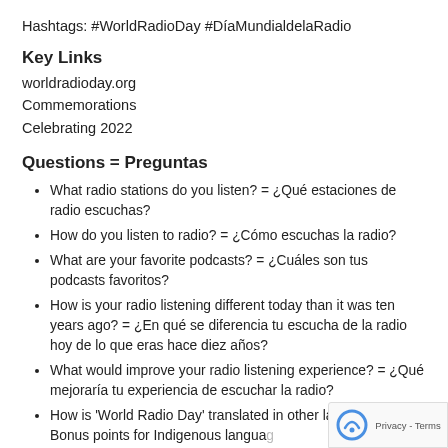Hashtags: #WorldRadioDay #DíaMundialdelaRadio
Key Links
worldradioday.org
Commemorations
Celebrating 2022
Questions = Preguntas
What radio stations do you listen? = ¿Qué estaciones de radio escuchas?
How do you listen to radio? = ¿Cómo escuchas la radio?
What are your favorite podcasts? = ¿Cuáles son tus podcasts favoritos?
How is your radio listening different today than it was ten years ago? = ¿En qué se diferencia tu escucha de la radio hoy de lo que eras hace diez años?
What would improve your radio listening experience? = ¿Qué mejoraría tu experiencia de escuchar la radio?
How is 'World Radio Day' translated in other languages? Bonus points for Indigenous langua… ¿Cómo se traduce 'Día Mundial de la Radio' a otros…